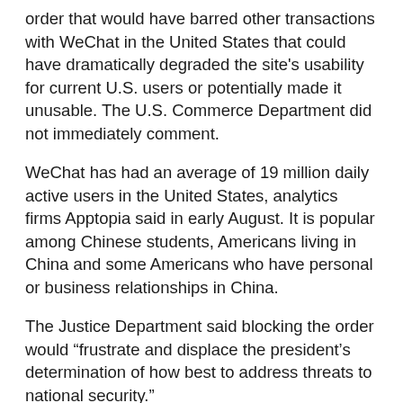order that would have barred other transactions with WeChat in the United States that could have dramatically degraded the site's usability for current U.S. users or potentially made it unusable. The U.S. Commerce Department did not immediately comment.
WeChat has had an average of 19 million daily active users in the United States, analytics firms Apptopia said in early August. It is popular among Chinese students, Americans living in China and some Americans who have personal or business relationships in China.
The Justice Department said blocking the order would “frustrate and displace the president’s determination of how best to address threats to national security.”
Beeler wrote “certainly the government’s overarching national-security interest is significant. But on this record — while the government has established that China’s